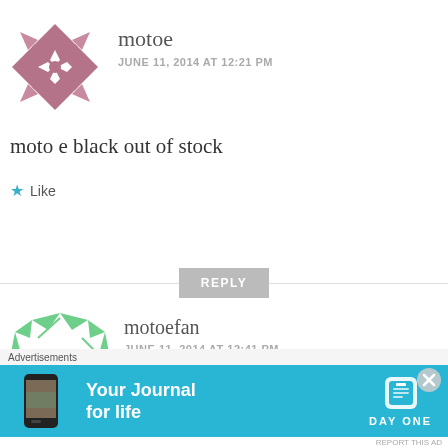[Figure (illustration): Avatar for user 'motoe': a geometric purple/mauve diamond/star pattern avatar]
motoe
JUNE 11, 2014 AT 12:21 PM
moto e black out of stock
Like
REPLY
[Figure (illustration): Avatar for user 'motoefan': a green geometric circular/diamond pattern avatar]
motoefan
JUNE 11, 2014 AT 12:41 PM
Advertisements
[Figure (screenshot): Day One app advertisement banner: blue background with phone image, text 'Your Journal for life', Day One logo]
REPORT THIS AD